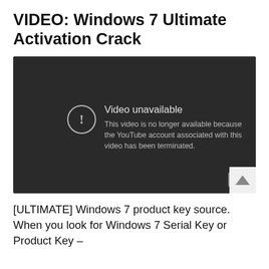VIDEO: Windows 7 Ultimate Activation Crack
[Figure (screenshot): Embedded YouTube video player showing 'Video unavailable' error message: 'This video is no longer available because the YouTube account associated with this video has been terminated.' A YouTube play button icon appears in the bottom-right corner.]
[ULTIMATE] Windows 7 product key source. When you look for Windows 7 Serial Key or Product Key –